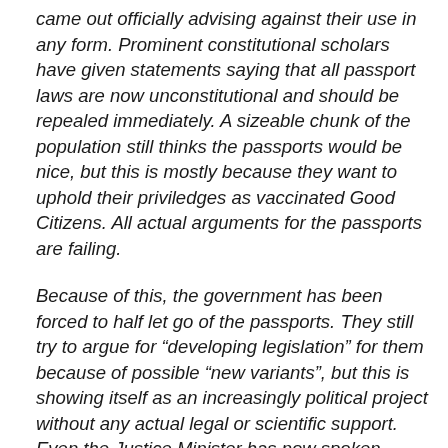came out officially advising against their use in any form. Prominent constitutional scholars have given statements saying that all passport laws are now unconstitutional and should be repealed immediately. A sizeable chunk of the population still thinks the passports would be nice, but this is mostly because they want to uphold their priviledges as vaccinated Good Citizens. All actual arguments for the passports are failing.
Because of this, the government has been forced to half let go of the passports. They still try to argue for “developing legislation” for them because of possible “new variants”, but this is showing itself as an increasingly political project without any actual legal or scientific support. Even the Justice Minister has now spoken against passports. We’ll have to see what shenanigans the covid dictators and bureucrats pull up. (Re this, Ursula von